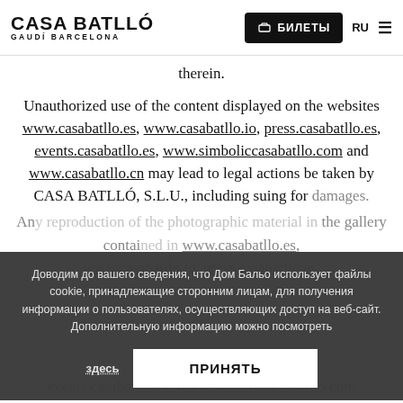CASA BATLLÓ GAUDÍ BARCELONA | БИЛЕТЫ | RU
therein.
Unauthorized use of the content displayed on the websites www.casabatllo.es, www.casabatllo.io, press.casabatllo.es, events.casabatllo.es, www.simboliccasabatllo.com and www.casabatllo.cn may lead to legal actions be taken by CASA BATLLÓ, S.L.U., including suing for damages.
Any reproduction of the photographic material in the gallery contained in www.casabatllo.es, www.casabatllo.io, press.casabatllo.es, events.casabatllo.es, www.simboliccasabatllo.com
Доводим до вашего сведения, что Дом Бальо использует файлы cookie, принадлежащие сторонним лицам, для получения информации о пользователях, осуществляющих доступ на веб-сайт. Дополнительную информацию можно посмотреть здесь
ПРИНЯТЬ